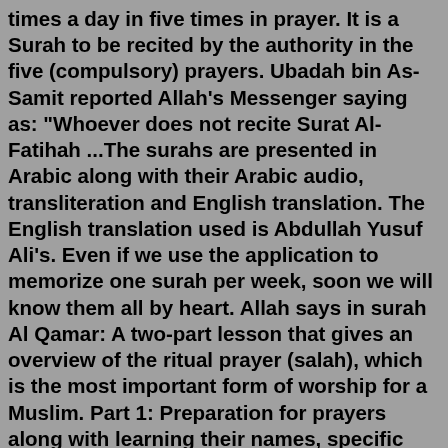times a day in five times in prayer. It is a Surah to be recited by the authority in the five (compulsory) prayers. Ubadah bin As-Samit reported Allah's Messenger saying as: "Whoever does not recite Surat Al-Fatihah ...The surahs are presented in Arabic along with their Arabic audio, transliteration and English translation. The English translation used is Abdullah Yusuf Ali's. Even if we use the application to memorize one surah per week, soon we will know them all by heart. Allah says in surah Al Qamar: A two-part lesson that gives an overview of the ritual prayer (salah), which is the most important form of worship for a Muslim. Part 1: Preparation for prayers along with learning their names, specific timings and the direction of prayer. A website for new Muslim converts who would like to learn their new religion in an easy and systematic way.Important #Quran Surahs & Verses to memorize. 2- Surah Al Baqarah : verses 285-286. Important #Quran Surahs & Verses to memorize. Text Quotes. Motivational Words. Make It Easy. Ha this collection is in Y